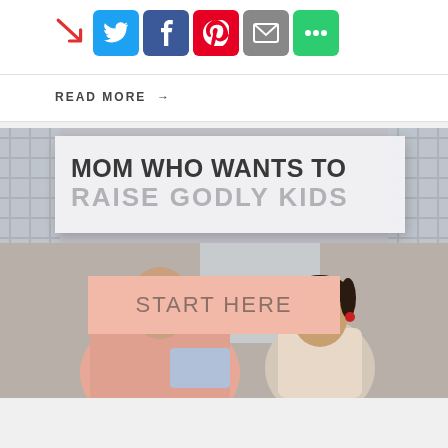[Figure (infographic): Social media share icons: Twitter (blue), Facebook (blue), Pinterest (red), Email (gray), More (green), with red arrow pointing to them]
READ MORE →
[Figure (infographic): Promotional banner for moms who want to raise godly kids with START HERE button, overlaid on photo of mother and young daughter]